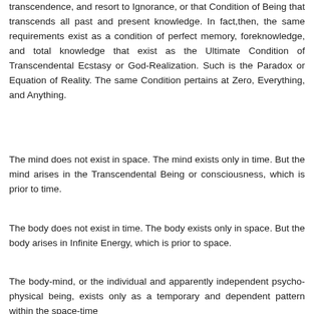transcendence, and resort to Ignorance, or that Condition of Being that transcends all past and present knowledge. In fact,then, the same requirements exist as a condition of perfect memory, foreknowledge, and total knowledge that exist as the Ultimate Condition of Transcendental Ecstasy or God-Realization. Such is the Paradox or Equation of Reality. The same Condition pertains at Zero, Everything, and Anything.
The mind does not exist in space. The mind exists only in time. But the mind arises in the Transcendental Being or consciousness, which is prior to time.
The body does not exist in time. The body exists only in space. But the body arises in Infinite Energy, which is prior to space.
The body-mind, or the individual and apparently independent psycho-physical being, exists only as a temporary and dependent pattern within the space-time